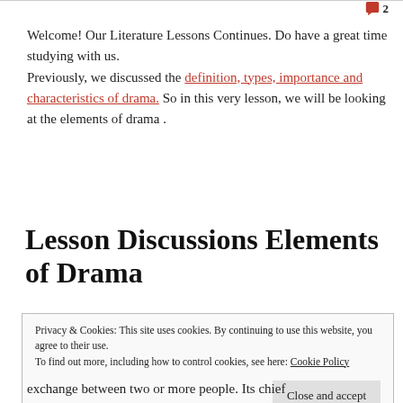2
Welcome! Our Literature Lessons Continues. Do have a great time studying with us.
Previously, we discussed the definition, types, importance and characteristics of drama. So in this very lesson, we will be looking at the elements of drama .
Lesson Discussions Elements of Drama
Privacy & Cookies: This site uses cookies. By continuing to use this website, you agree to their use.
To find out more, including how to control cookies, see here: Cookie Policy
Close and accept
exchange between two or more people. Its chief